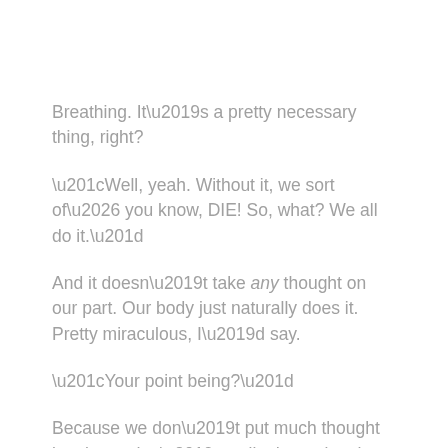Breathing. It’s a pretty necessary thing, right?
“Well, yeah. Without it, we sort of… you know, DIE! So, what? We all do it.”
And it doesn’t take any thought on our part. Our body just naturally does it. Pretty miraculous, I’d say.
“Your point being?”
Because we don’t put much thought into it, we don’t really determine the quality of the breaths we take.